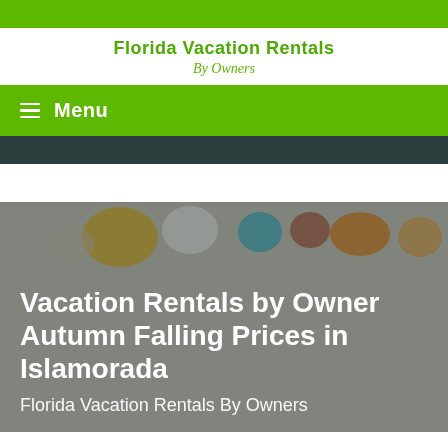Florida Vacation Rentals By Owners
Menu
[Figure (photo): Aerial view of colorful beach umbrellas and towels on sandy beach, partially obscured by dark overlay]
Vacation Rentals by Owner Autumn Falling Prices in Islamorada
Florida Vacation Rentals By Owners